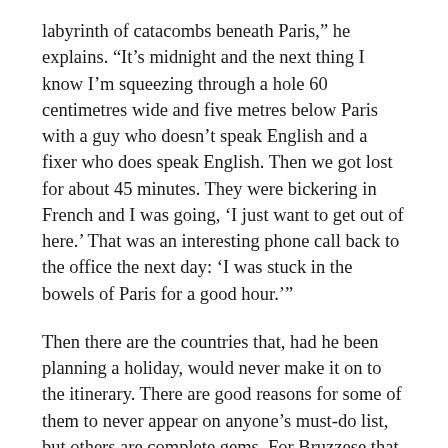labyrinth of catacombs beneath Paris,” he explains. “It’s midnight and the next thing I know I’m squeezing through a hole 60 centimetres wide and five metres below Paris with a guy who doesn’t speak English and a fixer who does speak English. Then we got lost for about 45 minutes. They were bickering in French and I was going, ‘I just want to get out of here.’ That was an interesting phone call back to the office the next day: ‘I was stuck in the bowels of Paris for a good hour.’”
Then there are the countries that, had he been planning a holiday, would never make it on to the itinerary. There are good reasons for some of them to never appear on anyone’s must-do list, but others are complete gems. For Bruzzese that place is Sarajevo, the capital of Bosnia and Herzegovina. There he met a sporting team made up of men who’d been victims of the bloody war and are now the world champions of sit-down volleyball. “We got to meet these incredible guys who are just living their lives and are hugely successful,” he explains. “You can’t get away from it [the war] there. Driving around, there are buildings that still